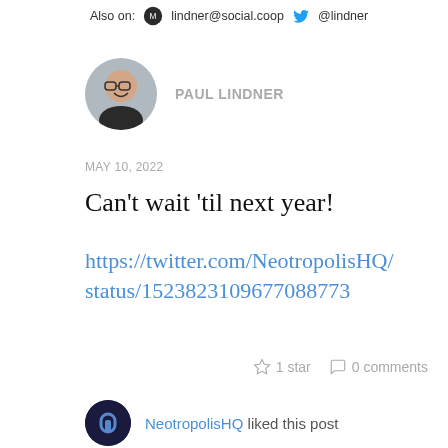Also on:  lindner@social.coop  @lindner
[Figure (photo): Circular avatar photo of Paul Lindner, a person with glasses smiling]
PAUL LINDNER
MAY 10, 2022
Can't wait 'til next year!
https://twitter.com/NeotropolisHQ/status/1523823109677088773
1 star   0 comments
NeotropolisHQ liked this post